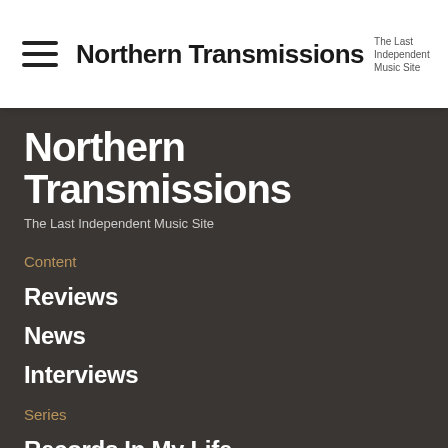Northern Transmissions — The Last Independent Music Site
Northern Transmissions
The Last Independent Music Site
Content
Reviews
News
Interviews
Series
Records In My Life
Song of the Day
Video of the Day